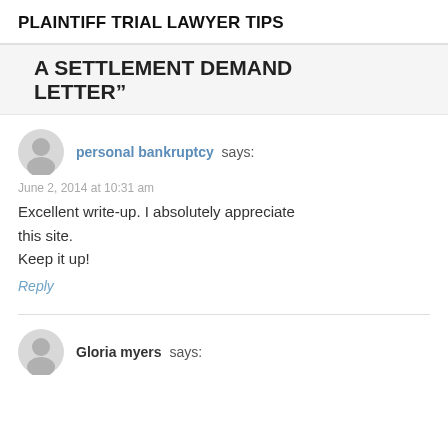PLAINTIFF TRIAL LAWYER TIPS
A SETTLEMENT DEMAND LETTER”
personal bankruptcy says:
June 2, 2014 at 10:31 am
Excellent write-up. I absolutely appreciate this site.
Keep it up!
Reply
Gloria myers says: